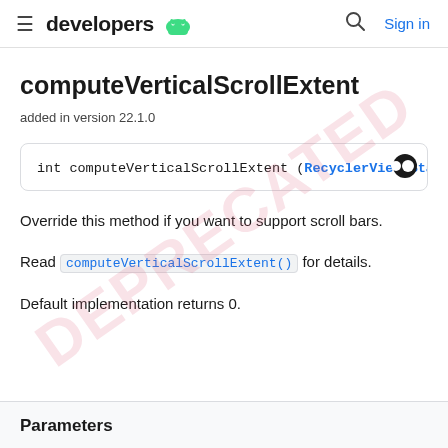≡ developers 🤖  🔍  Sign in
computeVerticalScrollExtent
added in version 22.1.0
int computeVerticalScrollExtent (RecyclerView.State
Override this method if you want to support scroll bars.
Read computeVerticalScrollExtent() for details.
Default implementation returns 0.
Parameters